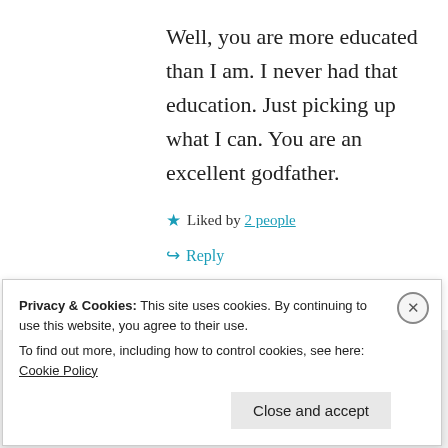Well, you are more educated than I am. I never had that education. Just picking up what I can. You are an excellent godfather.
★ Liked by 2 people
↪ Reply
Privacy & Cookies: This site uses cookies. By continuing to use this website, you agree to their use. To find out more, including how to control cookies, see here: Cookie Policy
Close and accept